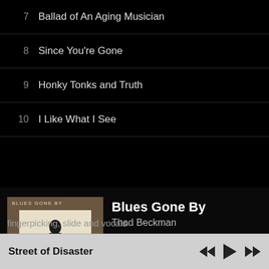7  Ballad of An Aging Musician
8  Since You're Gone
9  Honky Tonks and Truth
10  I Like What I See
[Figure (photo): Album cover for Blues Gone By by Thad Beckman showing a man in black standing on stairs against a muted brown background]
Blues Gone By
Thad Beckman
SHARE
solo acoustic blues, Texas, Mississippi, Georgia, excellent fingerpicking, slide and vocals
Street of Disaster